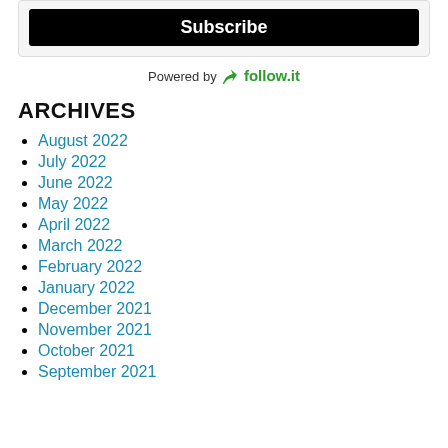[Figure (screenshot): Subscribe button — black button with white bold text 'Subscribe' inside a light grey rounded box]
Powered by 🌿 follow.it
ARCHIVES
August 2022
July 2022
June 2022
May 2022
April 2022
March 2022
February 2022
January 2022
December 2021
November 2021
October 2021
September 2021